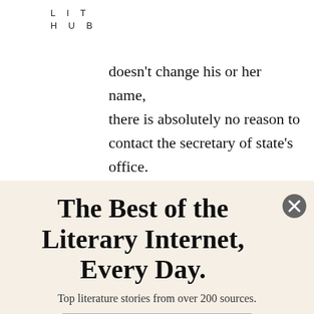LIT
HUB
doesn't change his or her name, there is absolutely no reason to contact the secretary of state's office. None. It is not about changes of addresses or even name changes; it's realizing that minorities, the poor, and the young are less likely to vote
The Best of the Literary Internet, Every Day.
Top literature stories from over 200 sources.